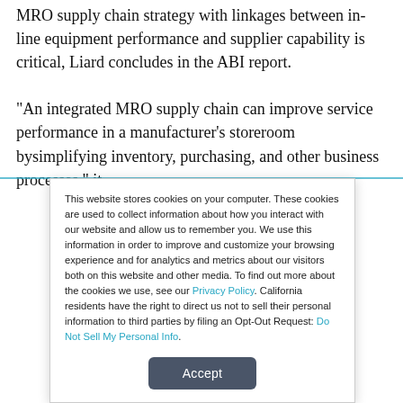MRO supply chain strategy with linkages between in-line equipment performance and supplier capability is critical, Liard concludes in the ABI report.

“An integrated MRO supply chain can improve service performance in a manufacturer's storeroom bysimplifying inventory, purchasing, and other business processes,” it
This website stores cookies on your computer. These cookies are used to collect information about how you interact with our website and allow us to remember you. We use this information in order to improve and customize your browsing experience and for analytics and metrics about our visitors both on this website and other media. To find out more about the cookies we use, see our Privacy Policy. California residents have the right to direct us not to sell their personal information to third parties by filing an Opt-Out Request: Do Not Sell My Personal Info.